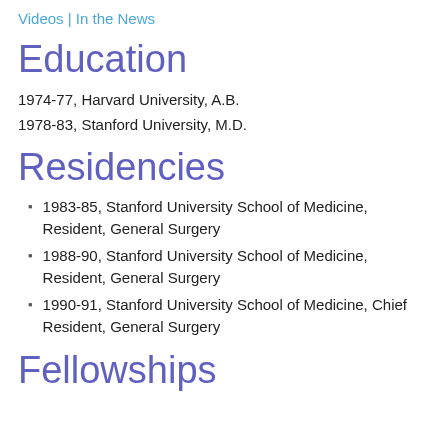Videos | In the News
Education
1974-77, Harvard University, A.B.
1978-83, Stanford University, M.D.
Residencies
1983-85, Stanford University School of Medicine, Resident, General Surgery
1988-90, Stanford University School of Medicine, Resident, General Surgery
1990-91, Stanford University School of Medicine, Chief Resident, General Surgery
Fellowships